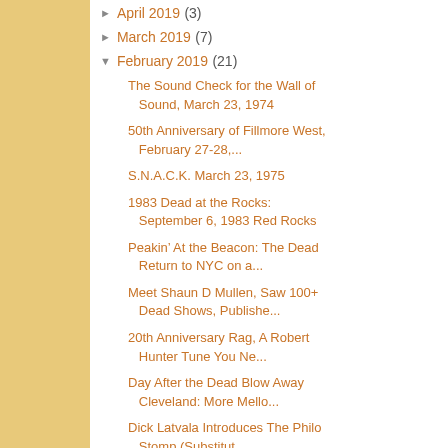► April 2019 (3)
► March 2019 (7)
▼ February 2019 (21)
The Sound Check for the Wall of Sound, March 23, 1974
50th Anniversary of Fillmore West, February 27-28,...
S.N.A.C.K. March 23, 1975
1983 Dead at the Rocks: September 6, 1983 Red Rocks
Peakin' At the Beacon: The Dead Return to NYC on a...
Meet Shaun D Mullen, Saw 100+ Dead Shows, Publishe...
20th Anniversary Rag, A Robert Hunter Tune You Ne...
Day After the Dead Blow Away Cleveland: More Mello...
Dick Latvala Introduces The Philo Stomp (Substitut...
Awesome 10-27-79 Review
My Super 8 of Berkeley Greek May 21or22, 1982 befo...